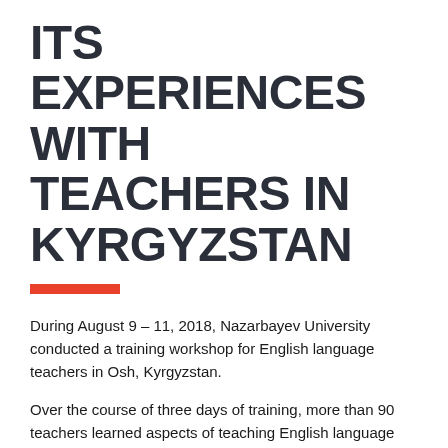ITS EXPERIENCES WITH TEACHERS IN KYRGYZSTAN
During August 9 – 11, 2018, Nazarbayev University conducted a training workshop for English language teachers in Osh, Kyrgyzstan.
Over the course of three days of training, more than 90 teachers learned aspects of teaching English language methodology, such as: (1) lesson planning; (2) classroom management; (3) giving feedback to students; (4) grammar training; (5) new vocabulary training; (6) developing listening skills; (7) developing reading skills; (8) developing speaking skills; and (9) developing writing skills.